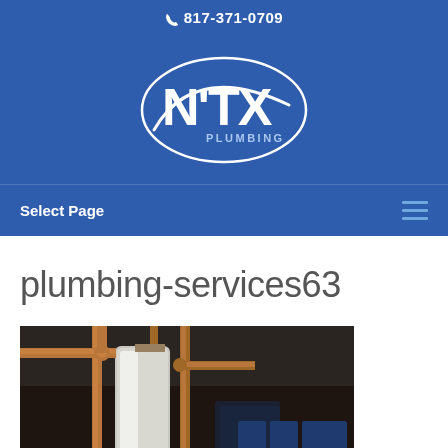817-371-0709
[Figure (logo): NTX Plumbing logo — white text NTX with swoosh arc and PLUMBING below on dark blue background]
Select Page
plumbing-services63
[Figure (photo): Photo of copper plumbing pipes and a white cylindrical water heater or tank in a dark mechanical room]